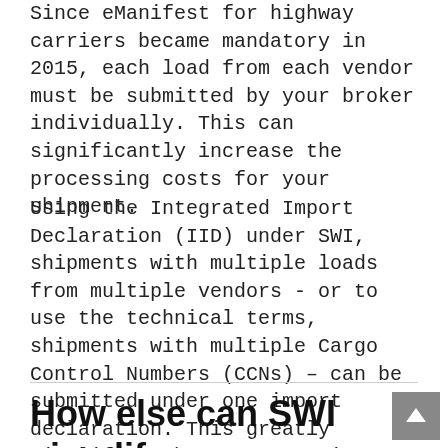Since eManifest for highway carriers became mandatory in 2015, each load from each vendor must be submitted by your broker individually. This can significantly increase the processing costs for your shipment.
Using the Integrated Import Declaration (IID) under SWI, shipments with multiple loads from multiple vendors - or to use the technical terms, shipments with multiple Cargo Control Numbers (CCNs) – can be submitted under one import declaration. This greatly simplifies these transactions and reduces the associated processing costs.
How else can SWI simplify my imports?